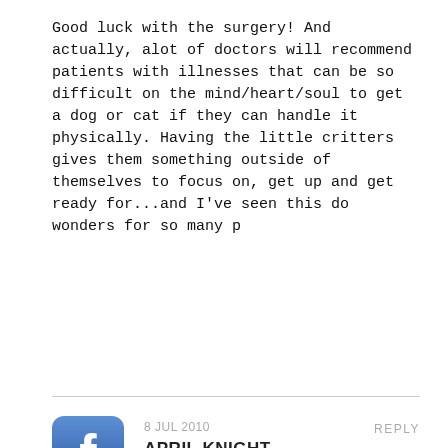Good luck with the surgery! And actually, alot of doctors will recommend patients with illnesses that can be so difficult on the mind/heart/soul to get a dog or cat if they can handle it physically. Having the little critters gives them something outside of themselves to focus on, get up and get ready for...and I've seen this do wonders for so many p
[Figure (logo): Facebook logo icon - blue rounded square with white 'f']
8 JUL 2010
REPLY
APRIL KNIGHT
Such fantastic news!!!
[Figure (logo): Facebook logo icon - blue rounded square with white 'f']
9 JUL 2010
REPLY
DENISE NOYES
Best of luck for upcoming surgery to Mischa. Tierce came